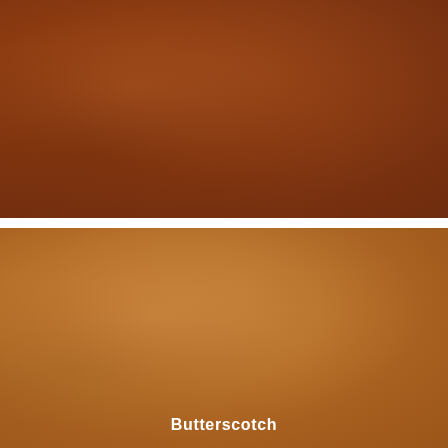[Figure (photo): Leather swatch sample in dark reddish-brown color, top half]
[Figure (photo): Leather swatch sample in butterscotch tan color, bottom half]
Butterscotch